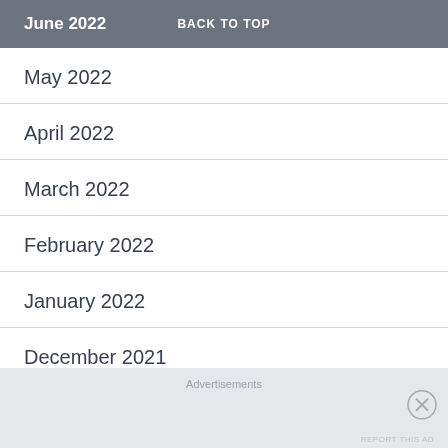June 2022   BACK TO TOP
May 2022
April 2022
March 2022
February 2022
January 2022
December 2021
November 2021
Advertisements